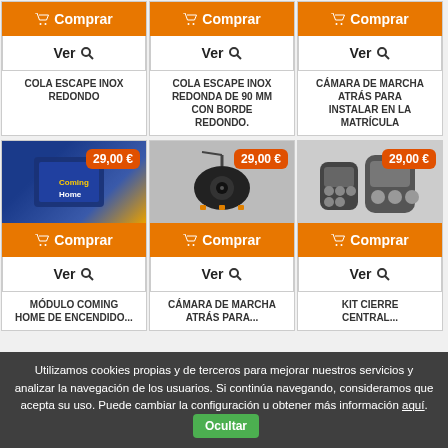[Figure (screenshot): E-commerce product grid showing 6 automotive product cards in 2 rows of 3. Top row: COLA ESCAPE INOX REDONDO, COLA ESCAPE INOX REDONDA DE 90 MM CON BORDE REDONDO, CÁMARA DE MARCHA ATRÁS PARA INSTALAR EN LA MATRÍCULA. Bottom row: MÓDULO COMING HOME (29,00€), CÁMARA DE MARCHA ATRÁS (29,00€), KIT CIERRE CENTRALIZADO (29,00€). Each card has Comprar and Ver buttons.]
Utilizamos cookies propias y de terceros para mejorar nuestros servicios y analizar la navegación de los usuarios. Si continúa navegando, consideramos que acepta su uso. Puede cambiar la configuración u obtener más información aquí. Ocultar